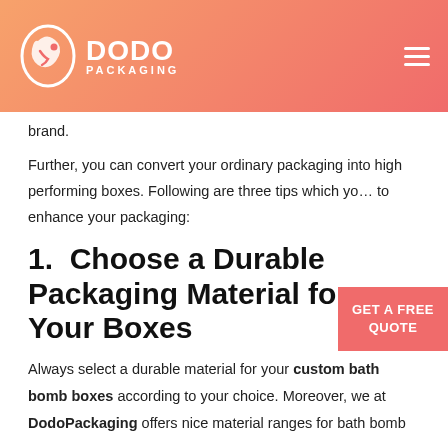DODO PACKAGING
brand.
Further, you can convert your ordinary packaging into high performing boxes. Following are three tips which you to enhance your packaging:
1.  Choose a Durable Packaging Material for Your Boxes
Always select a durable material for your custom bath bomb boxes according to your choice. Moreover, we at DodoPackaging offers nice material ranges for bath bomb product boxes.